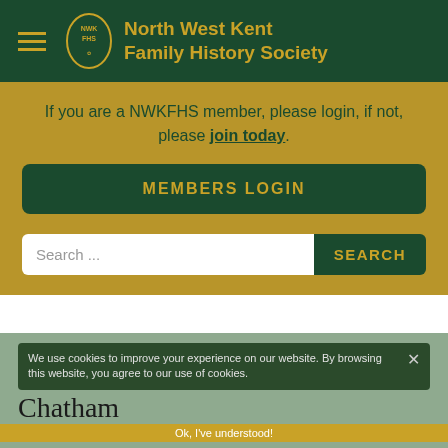[Figure (logo): North West Kent Family History Society logo with NWKFHS circular emblem and text]
If you are a NWKFHS member, please login, if not, please join today.
MEMBERS LOGIN
Search ...
SEARCH
We use cookies to improve your experience on our website. By browsing this website, you agree to our use of cookies.
Ok, I've understood!
Chatham
OS Grid Reference: TQ7567
The 1841 population was 19,489